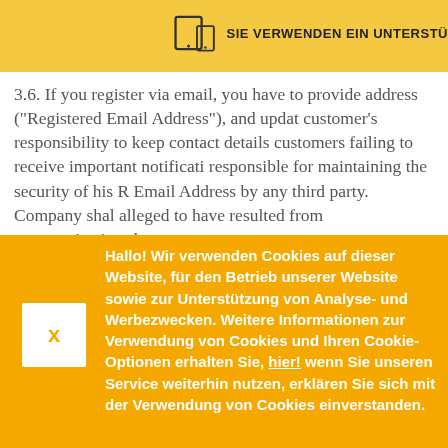SIE VERWENDEN EIN UNTERSTÜ...
3.6. If you register via email, you have to provide address ("Registered Email Address"), and updat customer's responsibility to keep contact details customers failing to receive important notificati responsible for maintaining the security of his R Email Address by any third party. Company shal alleged to have resulted from communications b
Hallo! Wir verwenden Cookies auf dieser Website, für den Betrieb unserer Website sowie zur Unterstützung von Analyse- und Werbezwecken. Weitere Informationen zur Verwendung von Cookies und Ihren Cookie-Optionen erhalten Sie, hier! wenn Sie unseren Service weiterhin nutzen, erklären Sie sich mit der Verwendung von Cookies einverstanden.